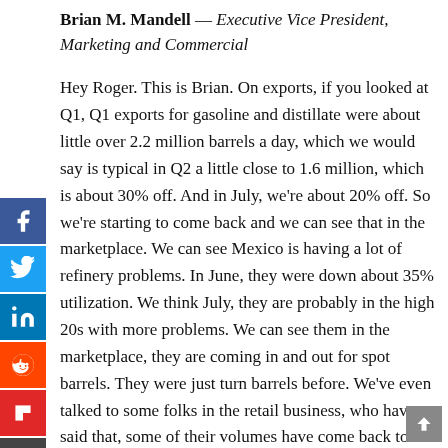Brian M. Mandell — Executive Vice President, Marketing and Commercial
Hey Roger. This is Brian. On exports, if you looked at Q1, Q1 exports for gasoline and distillate were about little over 2.2 million barrels a day, which we would say is typical in Q2 a little close to 1.6 million, which is about 30% off. And in July, we're about 20% off. So we're starting to come back and we can see that in the marketplace. We can see Mexico is having a lot of refinery problems. In June, they were down about 35% utilization. We think July, they are probably in the high 20s with more problems. We can see them in the marketplace, they are coming in and out for spot barrels. They were just turn barrels before. We've even talked to some folks in the retail business, who have said that, some of their volumes have come back to